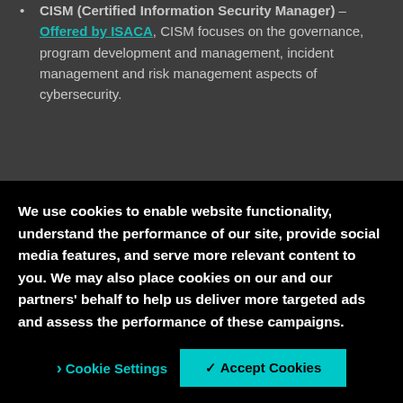CISM (Certified Information Security Manager) – Offered by ISACA, CISM focuses on the governance, program development and management, incident management and risk management aspects of cybersecurity.
It can take anywhere between 6-12 months to study and pass both exams. While each exam costs at least
We use cookies to enable website functionality, understand the performance of our site, provide social media features, and serve more relevant content to you. We may also place cookies on our and our partners' behalf to help us deliver more targeted ads and assess the performance of these campaigns.